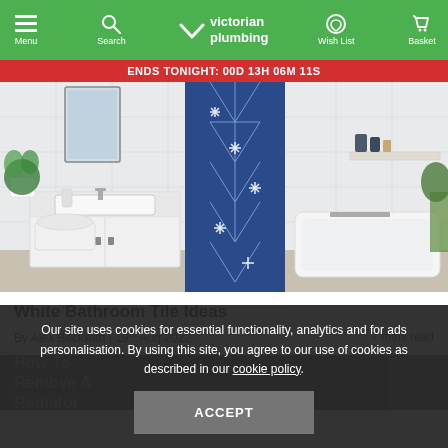Menu | Search | Victorian Plumbing | Wish List | Basket
ENDS TONIGHT: 00D 13H 06M 11S
[Figure (photo): Modern white bathroom with blue geometric patterned tiles, freestanding bathtub, vanity unit, toilet, and decorative plants]
White Bathroom Tile Ideas
By Alex Beckwith | 19th Aug 2022     7 mins read
[Figure (photo): Partially visible second article image showing a radiator with overlay text 'How To Remove A Radiator']
Our site uses cookies for essential functionality, analytics and for ads personalisation. By using this site, you agree to our use of cookies as described in our cookie policy.
ACCEPT